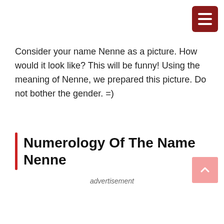[Figure (other): Dark red hamburger menu button icon in top-right corner]
Consider your name Nenne as a picture. How would it look like? This will be funny! Using the meaning of Nenne, we prepared this picture. Do not bother the gender. =)
Numerology Of The Name Nenne
advertisement
[Figure (other): Pink scroll-to-top button with upward chevron arrow in bottom-right corner]